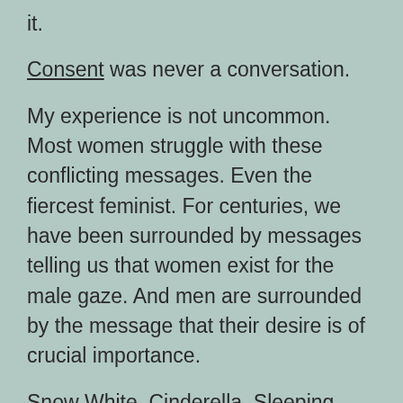it.
Consent was never a conversation.
My experience is not uncommon. Most women struggle with these conflicting messages. Even the fiercest feminist. For centuries, we have been surrounded by messages telling us that women exist for the male gaze. And men are surrounded by the message that their desire is of crucial importance.
Snow White, Cinderella, Sleeping Beauty, all these stories reinforce the idea that women must be pretty, cis gendered, silent, demure